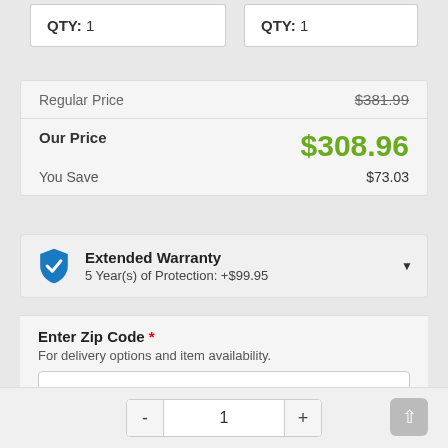QTY: 1
QTY: 1
| Regular Price | $381.99 |
| Our Price | $308.96 |
| You Save | $73.03 |
Extended Warranty
5 Year(s) of Protection: +$99.95
Enter Zip Code *
For delivery options and item availability.
- 1 +